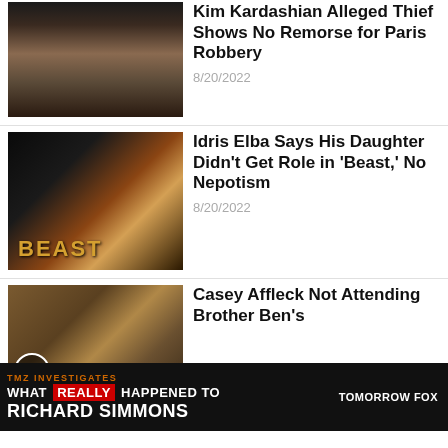[Figure (photo): Thumbnail photo of Kim Kardashian]
Kim Kardashian Alleged Thief Shows No Remorse for Paris Robbery
8/20/2022
[Figure (photo): Thumbnail photo related to Beast movie - Idris Elba and daughter]
Idris Elba Says His Daughter Didn't Get Role in 'Beast,' No Nepotism
8/20/2022
[Figure (photo): Thumbnail photo of Casey Affleck]
Casey Affleck Not Attending Brother Ben's
8/20/2022
[Figure (other): TMZ Investigates ad banner: WHAT REALLY HAPPENED TO RICHARD SIMMONS — TOMORROW FOX]